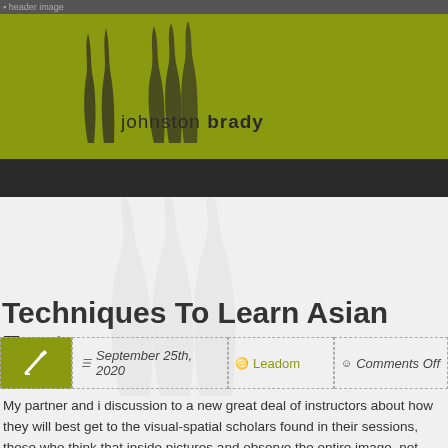header image
[Figure (logo): Johnston Brady logo with stylized grass/reed graphic on olive-green background]
Techniques To Learn Asian Fast
September 25th, 2020   Leadom   Comments Off
My partner and i discussion to a new great deal of instructors about how they will best get to the visual-spatial scholars found in their sessions, those who think that inside pictures and observe the entire image, not inside terms or even step-by-step. Andrew is a economist who developed